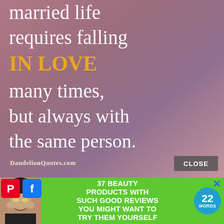[Figure (photo): Inspirational quote image with gradient purple-pink background. Text reads: 'married life requires falling IN LOVE many times, but always with the same person.' with 'IN LOVE' in gold/orange. DandelionQuotes.com attribution at bottom.]
[Figure (photo): Advertisement banner with green background showing a smiling woman with face patches, text '37 BEAUTY PRODUCTS WITH SUCH GOOD REVIEWS YOU MIGHT WANT TO TRY THEM YOURSELF', a teal badge with '22 WORDS', Pinterest and Facebook social icons, and a close X button.]